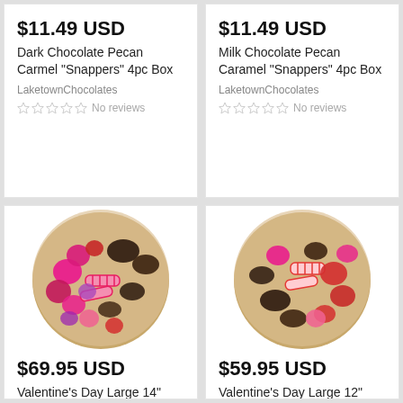$11.49 USD
Dark Chocolate Pecan Carmel "Snappers" 4pc Box
LaketownChocolates
No reviews
$11.49 USD
Milk Chocolate Pecan Caramel "Snappers" 4pc Box
LaketownChocolates
No reviews
[Figure (photo): Round basket filled with Valentine's Day candies including pink and red foil hearts, striped candy rolls, and dark chocolates, wrapped in cellophane]
$69.95 USD
Valentine's Day Large 14"
[Figure (photo): Round basket filled with Valentine's Day candies including red and pink foil hearts, striped peppermint candy rolls, and dark chocolates, wrapped in cellophane]
$59.95 USD
Valentine's Day Large 12"